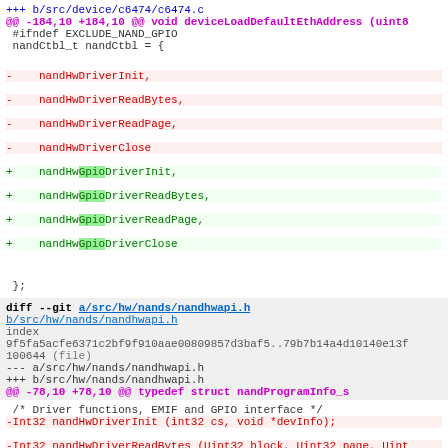+++ b/src/device/c6474/c6474.c
@@ -184,10 +184,10 @@ void deviceLoadDefaultEthAddress (uint8
#ifndef EXCLUDE_NAND_GPIO
 nandCtbl_t nandCtbl = {
-    nandHwDriverInit,
-    nandHwDriverReadBytes,
-    nandHwDriverReadPage,
-    nandHwDriverClose
+    nandHwGpioDriverInit,
+    nandHwGpioDriverReadBytes,
+    nandHwGpioDriverReadPage,
+    nandHwGpioDriverClose
};
diff --git a/src/hw/nands/nandhwapi.h b/src/hw/nands/nandhwapi.h
index 9f5fa5acfe6371c2bf9f910aae00809857d3baf5..79b7b14a4d10140e13f 100644 (file)
--- a/src/hw/nands/nandhwapi.h
+++ b/src/hw/nands/nandhwapi.h
@@ -78,10 +78,10 @@ typedef struct nandProgramInfo_s
/* Driver functions, EMIF and GPIO interface */
-Int32 nandHwDriverInit (int32 cs, void *devInfo);
-Int32 nandHwDriverReadBytes (Uint32 block, Uint32 page, Uint
-Int32 nandHwDriverReadPage(Uint32 block, Uint32 page, Uint8